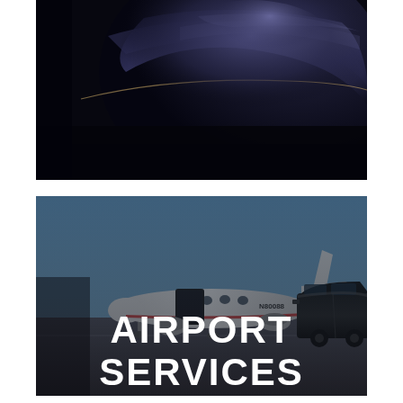[Figure (photo): Close-up of a dark navy/deep blue luxury car roof and body panel with dramatic lighting against a dark background]
[Figure (photo): A white private jet with open door on a tarmac, with a dark luxury limousine on the right side. The text 'AIRPORT SERVICES' is overlaid in large white bold letters.]